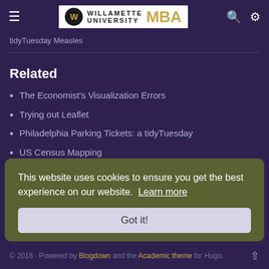Willamette University MBA
tidyTuesday Measles
Related
The Economist's Visualization Errors
Trying out Leaflet
Philadelphia Parking Tickets: a tidyTuesday
US Census Mapping
tidyTuesday does Pizza
This website uses cookies to ensure you get the best experience on our website. Learn more
© 2018 · Powered by Blogdown and the Academic theme for Hugo.